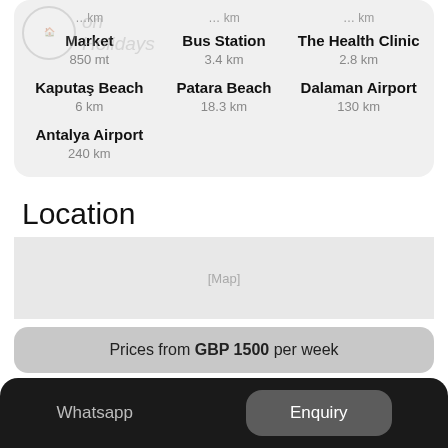Market 850 mt
Bus Station 3.4 km
The Health Clinic 2.8 km
Kaputaş Beach 6 km
Patara Beach 18.3 km
Dalaman Airport 130 km
Antalya Airport 240 km
Location
Prices from GBP 1500 per week
Whatsapp   Enquiry